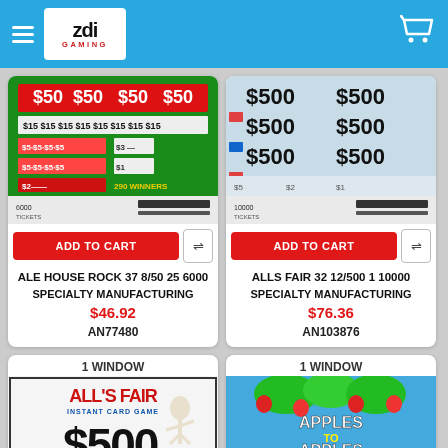ZDI Gaming
[Figure (screenshot): Product card: ALE HOUSE ROCK 37 8/50 25 6000 ticket image - green background with $50 and $15 prize values]
ADD TO CART
ALE HOUSE ROCK 37 8/50 25 6000
SPECIALTY MANUFACTURING
$46.92
AN77480
[Figure (screenshot): Product card: ALLS FAIR 32 12/500 1 10000 ticket image - light blue background with $500 prize values]
ADD TO CART
ALLS FAIR 32 12/500 1 10000
SPECIALTY MANUFACTURING
$76.36
AN103876
1 WINDOW
[Figure (screenshot): Product card: All's Fair pull tab ticket - red text on white background showing $500]
1 WINDOW
[Figure (screenshot): Product card: Apples to Apples pull tab ticket - colorful with apples artwork]